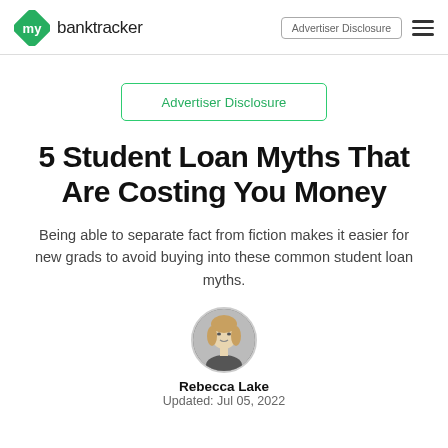my banktracker | Advertiser Disclosure
Advertiser Disclosure
5 Student Loan Myths That Are Costing You Money
Being able to separate fact from fiction makes it easier for new grads to avoid buying into these common student loan myths.
[Figure (photo): Circular author photo of Rebecca Lake, a woman with blonde hair]
Rebecca Lake
Updated: Jul 05, 2022